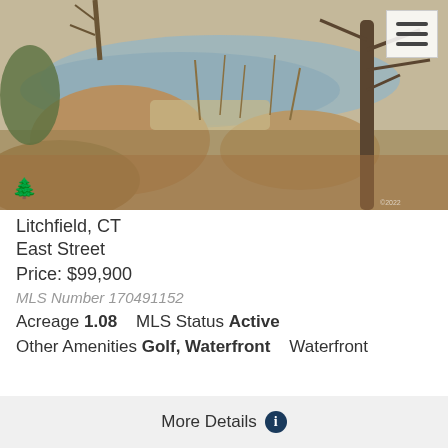[Figure (photo): Outdoor photo of a creek or stream with rocky banks, bare trees, and autumn leaves on the ground. A pine tree logo watermark is visible in the lower left corner.]
Litchfield, CT
East Street
Price: $99,900
MLS Number 170491152
Acreage 1.08    MLS Status Active
Other Amenities Golf, Waterfront   Waterfront
More Details